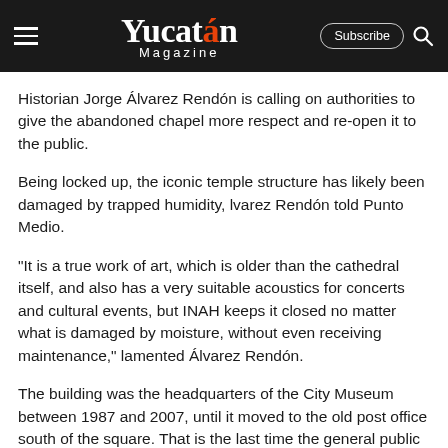Yucatán Magazine
Historian Jorge Álvarez Rendón is calling on authorities to give the abandoned chapel more respect and re-open it to the public.
Being locked up, the iconic temple structure has likely been damaged by trapped humidity, lvarez Rendón told Punto Medio.
“It is a true work of art, which is older than the cathedral itself, and also has a very suitable acoustics for concerts and cultural events, but INAH keeps it closed no matter what is damaged by moisture, without even receiving maintenance,” lamented Álvarez Rendón.
The building was the headquarters of the City Museum between 1987 and 2007, until it moved to the old post office south of the square. That is the last time the general public was allowed entry into the 400-year-old building, which pre-dates the Cathedral.
Its history begins when in 1550 the mayor, Gaspar Suárez, donated the land and had it built as a hospital. Some years later, in 1579, its chapel was finished under the invocation of Our Lady of the Rosary. According to some records, the chapel served as a